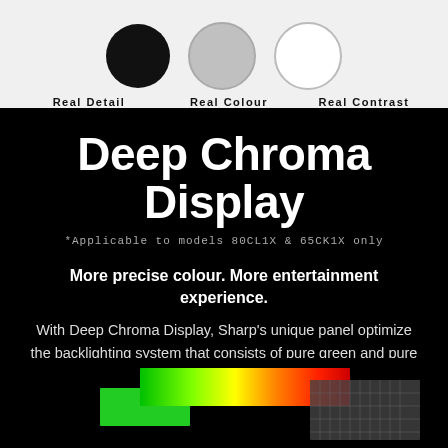[Figure (illustration): Three circles showing Real Detail (black), Real Colour (grey), Real Contrast (white) with labels below]
Deep Chroma Display
*Applicable to models 80CL1X & 65CK1X only
More precise colour. More entertainment experience.
With Deep Chroma Display, Sharp's unique panel optimize the backlighting system that consists of pure green and pure red in resulting richer tones and colours. It takes you to enjoy more vivid, natural and more realistic picture quality.
[Figure (illustration): Colour spectrum panel and pixel grid diagram at bottom of page]